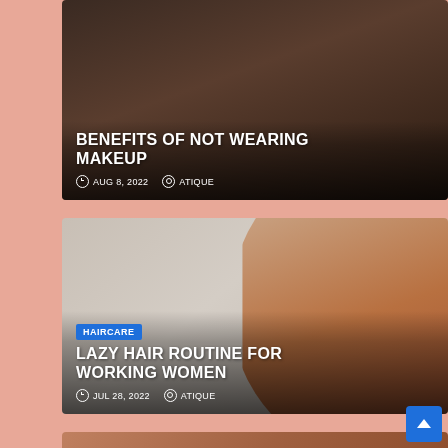[Figure (photo): Article card 1: Dark background with woman's face, title 'BENEFITS OF NOT WEARING MAKEUP', dated AUG 8, 2022, author ATIQUE]
BENEFITS OF NOT WEARING MAKEUP
AUG 8, 2022   ATIQUE
[Figure (photo): Article card 2: Woman with hair brush looking frustrated, HAIRCARE category badge, title 'LAZY HAIR ROUTINE FOR WORKING WOMEN', dated JUL 28, 2022, author ATIQUE]
LAZY HAIR ROUTINE FOR WORKING WOMEN
JUL 28, 2022   ATIQUE
[Figure (photo): Article card 3: Close-up of skin with bumps, SKIN CARE category badge, title 'HOW TO TREAT FUNGAL' (partial)]
HOW TO TREAT FUNGAL